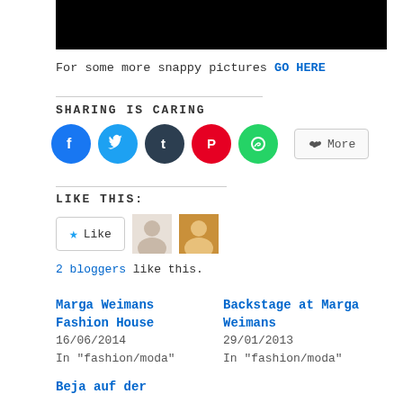[Figure (photo): Black image/photo bar at the top of the page]
For some more snappy pictures GO HERE
SHARING IS CARING
[Figure (infographic): Social sharing icons: Facebook (blue), Twitter (cyan), Tumblr (dark), Pinterest (red), WhatsApp (green), and a More button]
LIKE THIS:
[Figure (infographic): Like button with star icon and two blogger avatar thumbnails]
2 bloggers like this.
Marga Weimans Fashion House
16/06/2014
In "fashion/moda"
Backstage at Marga Weimans
29/01/2013
In "fashion/moda"
Beja auf der